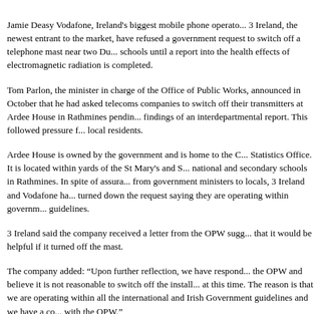Jamie Deasy Vodafone, Ireland's biggest mobile phone operator, and 3 Ireland, the newest entrant to the market, have refused a government request to switch off a telephone mast near two Dublin schools until a report into the health effects of electromagnetic radiation is completed.
Tom Parlon, the minister in charge of the Office of Public Works, announced in October that he had asked telecoms companies to switch off their transmitters at Ardee House in Rathmines pending findings of an interdepartmental report. This followed pressure from local residents.
Ardee House is owned by the government and is home to the Central Statistics Office. It is located within yards of the St Mary's and St national and secondary schools in Rathmines. In spite of assurances from government ministers to locals, 3 Ireland and Vodafone have turned down the request saying they are operating within government guidelines.
3 Ireland said the company received a letter from the OPW suggesting that it would be helpful if it turned off the mast.
The company added: “Upon further reflection, we have responded to the OPW and believe it is not reasonable to switch off the installation at this time. The reason is that we are operating within all the international and Irish Government guidelines and we have a contract with the OPW.”
Omega read "Base Stations, operating within strict national and